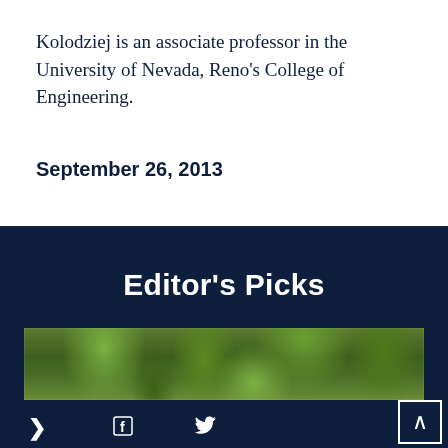Kolodziej is an associate professor in the University of Nevada, Reno's College of Engineering.
September 26, 2013
Editor's Picks
[Figure (photo): Close-up photo of green foliage/plant leaves]